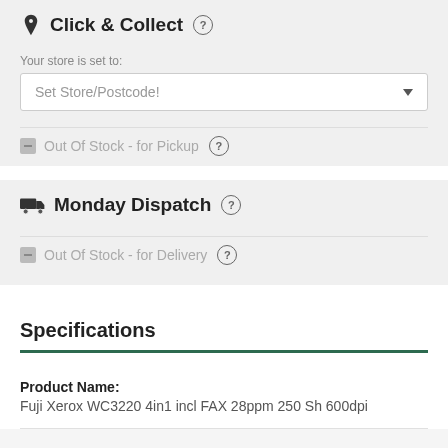Click & Collect
Your store is set to:
Set Store/Postcode!
Out Of Stock - for Pickup
Monday Dispatch
Out Of Stock - for Delivery
Specifications
Product Name:
Fuji Xerox WC3220 4in1 incl FAX 28ppm 250 Sh 600dpi